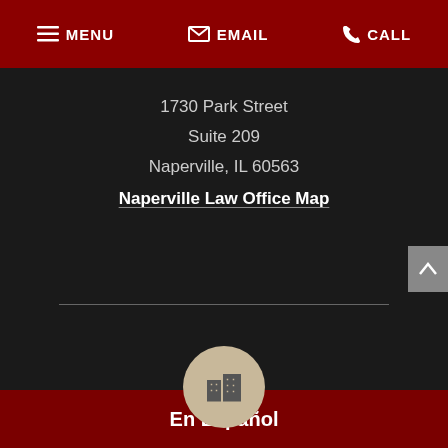MENU  EMAIL  CALL
1730 Park Street
Suite 209
Naperville, IL 60563
Naperville Law Office Map
[Figure (illustration): Beige circle with a building/office icon in the center]
En Español